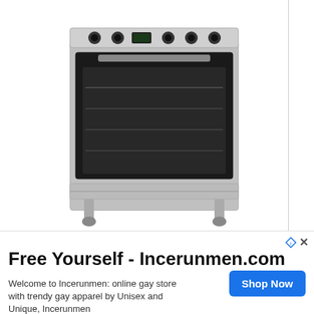[Figure (photo): Stainless steel freestanding dual fuel range cooker/oven with black oven door, control knobs and small display panel on top, viewed from front angle.]
New Willow WS90DFSS 90cm Dual Fuel – Stainless Ste
Delivered anywhere in Ireland
Amazon  - Since today
Price: 479 €
duct condition: New
Free Yourself - Incerunmen.com
Welcome to Incerunmen: online gay store with trendy gay apparel by Unisex and Unique, Incerunmen